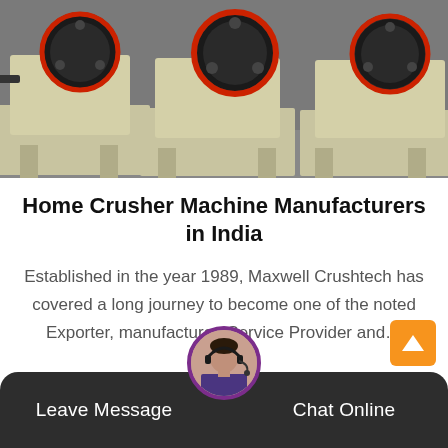[Figure (photo): Industrial jaw crusher machines with cream/beige body, large black and red flywheels, multiple units shown in a factory setting]
Home Crusher Machine Manufacturers in India
Established in the year 1989, Maxwell Crushtech has covered a long journey to become one of the noted Exporter, manufacturer, Service Provider and...
[Figure (photo): Customer support agent avatar - woman with headset in circular purple-bordered frame]
Leave Message   Chat Online